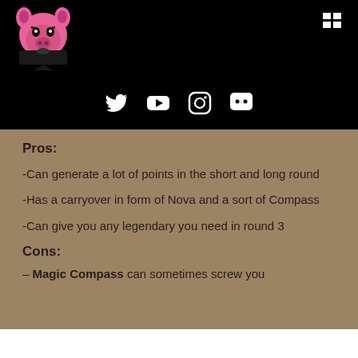[Figure (logo): Pink pig mascot logo wearing a black bandana, angry expression, on black background]
[Figure (infographic): Social media icons: Twitter, YouTube, Instagram, Discord — white icons on black background]
Pros:
-Can generate a lot of points in the short and long round
-Has a carryover in form of Nova and a sort of Compass
-Can give you any legendary you need in round 3
Cons:
– Magic Compass can sometimes screw you